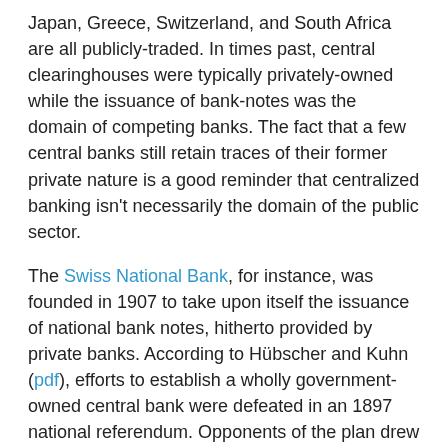Japan, Greece, Switzerland, and South Africa are all publicly-traded. In times past, central clearinghouses were typically privately-owned while the issuance of bank-notes was the domain of competing banks. The fact that a few central banks still retain traces of their former private nature is a good reminder that centralized banking isn't necessarily the domain of the public sector.
The Swiss National Bank, for instance, was founded in 1907 to take upon itself the issuance of national bank notes, hitherto provided by private banks. According to Hübscher and Kuhn (pdf), efforts to establish a wholly government-owned central bank were defeated in an 1897 national referendum. Opponents of the plan drew up an alternative proposal for a privately owned bank the structure of which would, according to Bordo, "not allow for state socialism or the public control of credit policy." One fifth of the new bank's capital would be given to the private banks to compensate them for the loss of their power to issue notes.
Nowadays, SNB shares trade on the SIX Swiss Exchange. The original 100,000 shares are still outstanding, with 2,185